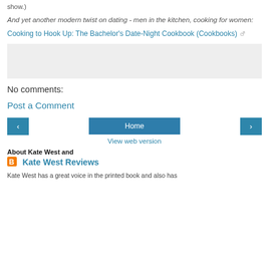show.)
And yet another modern twist on dating - men in the kitchen, cooking for women:
Cooking to Hook Up: The Bachelor's Date-Night Cookbook (Cookbooks)
[Figure (other): Gray advertisement or widget placeholder box]
No comments:
Post a Comment
[Figure (infographic): Navigation row with left arrow button, Home button, and right arrow button]
View web version
About Kate West and
[Figure (logo): Blogger orange B icon]
Kate West Reviews
Kate West has a great voice in the printed book and also has...